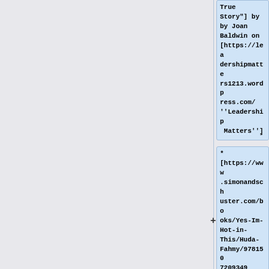True Story"] by by Joan Baldwin on [https://leadershipmatters1213.wordpress.com/ ''Leadership Matters'']
* [https://www.simonandschuster.com/books/Yes-Im-Hot-in-This/Huda-Fahmy/9781507209349 ''Yes, I'm Hot in